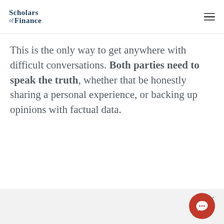Scholars of Finance
This is the only way to get anywhere with difficult conversations. Both parties need to speak the truth, whether that be honestly sharing a personal experience, or backing up opinions with factual data.